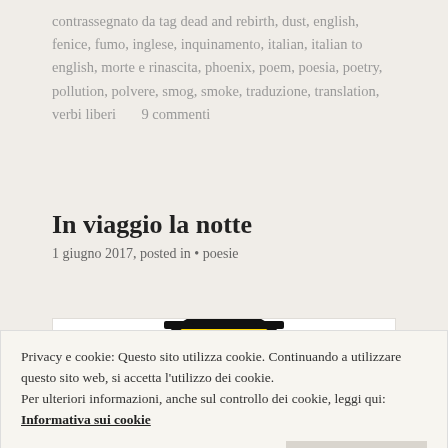contrassegnato da tag dead and rebirth, dust, english, fenice, fumo, inglese, inquinamento, italian, italian to english, morte e rinascita, phoenix, poem, poesia, poetry, pollution, polvere, smog, smoke, traduzione, translation, verbi liberi     9 commenti
In viaggio la notte
1 giugno 2017, posted in • poesie
[Figure (illustration): Yellow smiley face with closed/sleepy eyes wearing a hat, shown partially at top of a white bordered box. At the bottom are two small colorful icons.]
Privacy e cookie: Questo sito utilizza cookie. Continuando a utilizzare questo sito web, si accetta l'utilizzo dei cookie. Per ulteriori informazioni, anche sul controllo dei cookie, leggi qui: Informativa sui cookie
Chiudi e accetta